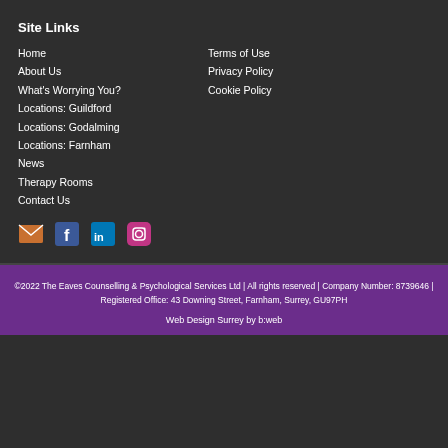Site Links
Home
About Us
What's Worrying You?
Locations: Guildford
Locations: Godalming
Locations: Farnham
News
Therapy Rooms
Contact Us
Terms of Use
Privacy Policy
Cookie Policy
[Figure (infographic): Social media icons: email, Facebook, LinkedIn, Instagram]
©2022 The Eaves Counselling & Psychological Services Ltd | All rights reserved | Company Number: 8739646 | Registered Office: 43 Downing Street, Farnham, Surrey, GU97PH
Web Design Surrey by b:web